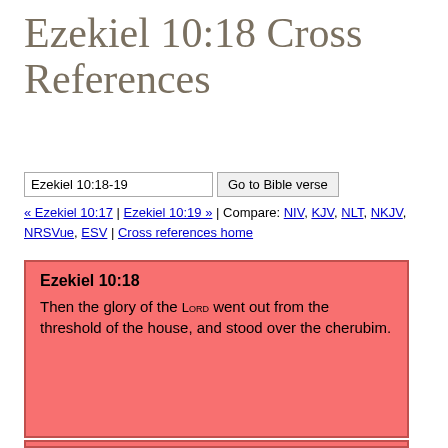Ezekiel 10:18 Cross References
Ezekiel 10:18-19 | Go to Bible verse | « Ezekiel 10:17 | Ezekiel 10:19 » | Compare: NIV, KJV, NLT, NKJV, NRSVue, ESV | Cross references home
Ezekiel 10:18
Then the glory of the Lord went out from the threshold of the house, and stood over the cherubim.